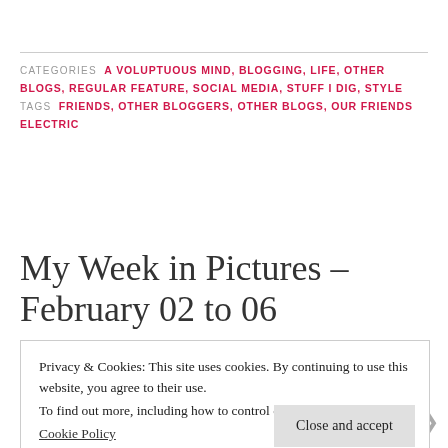CATEGORIES  A VOLUPTUOUS MIND, BLOGGING, LIFE, OTHER BLOGS, REGULAR FEATURE, SOCIAL MEDIA, STUFF I DIG, STYLE  TAGS  FRIENDS, OTHER BLOGGERS, OTHER BLOGS, OUR FRIENDS ELECTRIC
My Week in Pictures – February 02 to 06
Privacy & Cookies: This site uses cookies. By continuing to use this website, you agree to their use. To find out more, including how to control cookies, see here: Cookie Policy